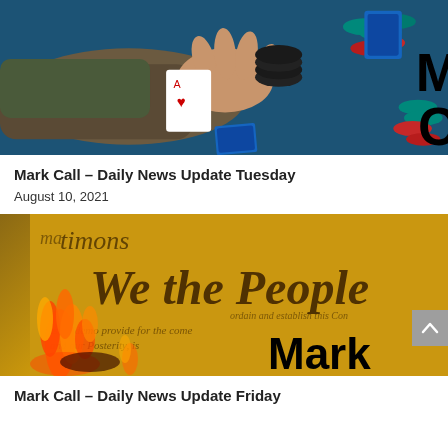[Figure (photo): Hand holding poker chips and playing cards (ace of hearts visible) on a casino table with various colored poker chips. Letters 'M' and 'C' visible on right edge.]
Mark Call – Daily News Update Tuesday
August 10, 2021
[Figure (photo): Burning US Constitution document with cursive text visible and flames. The word 'Mark' visible in bottom right corner.]
Mark Call – Daily News Update Friday